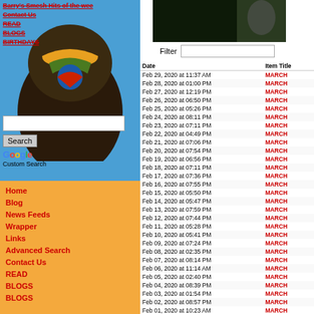Barry's Smesh Hits of the wee
Contact Us
READ
BLOGS
BIRTHDAYS
[Figure (photo): Shoe close-up image on blue background]
Search
Google Custom Search
Home
Blog
News Feeds
Wrapper
Links
Advanced Search
Contact Us
READ
BLOGS
BLOGS
[Figure (photo): Dark outdoor photo on right side]
Filter
| Date | Item Title |
| --- | --- |
| Feb 29, 2020 at 11:37 AM | MARCH |
| Feb 28, 2020 at 01:00 PM | MARCH |
| Feb 27, 2020 at 12:19 PM | MARCH |
| Feb 26, 2020 at 06:50 PM | MARCH |
| Feb 25, 2020 at 05:26 PM | MARCH |
| Feb 24, 2020 at 08:11 PM | MARCH |
| Feb 23, 2020 at 07:11 PM | MARCH |
| Feb 22, 2020 at 04:49 PM | MARCH |
| Feb 21, 2020 at 07:06 PM | MARCH |
| Feb 20, 2020 at 07:54 PM | MARCH |
| Feb 19, 2020 at 06:56 PM | MARCH |
| Feb 18, 2020 at 07:11 PM | MARCH |
| Feb 17, 2020 at 07:36 PM | MARCH |
| Feb 16, 2020 at 07:55 PM | MARCH |
| Feb 15, 2020 at 05:50 PM | MARCH |
| Feb 14, 2020 at 05:47 PM | MARCH |
| Feb 13, 2020 at 07:59 PM | MARCH |
| Feb 12, 2020 at 07:44 PM | MARCH |
| Feb 11, 2020 at 05:28 PM | MARCH |
| Feb 10, 2020 at 05:41 PM | MARCH |
| Feb 09, 2020 at 07:24 PM | MARCH |
| Feb 08, 2020 at 02:35 PM | MARCH |
| Feb 07, 2020 at 08:14 PM | MARCH |
| Feb 06, 2020 at 11:14 AM | MARCH |
| Feb 05, 2020 at 02:40 PM | MARCH |
| Feb 04, 2020 at 08:39 PM | MARCH |
| Feb 03, 2020 at 01:54 PM | MARCH |
| Feb 02, 2020 at 08:57 PM | MARCH |
| Feb 01, 2020 at 10:23 AM | MARCH |
| Jan 31, 2020 at 05:01 PM | MARCH |
| Jan 30, 2020 at 05:57 PM | MARCH |